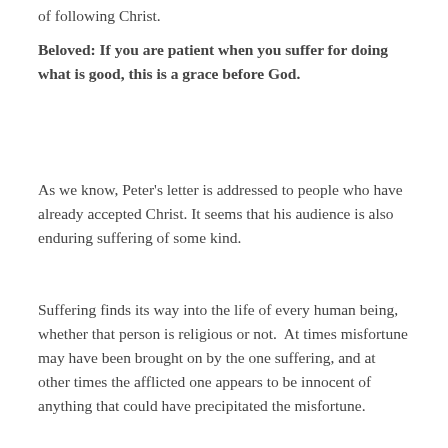of following Christ.
Beloved: If you are patient when you suffer for doing what is good, this is a grace before God.
As we know, Peter's letter is addressed to people who have already accepted Christ. It seems that his audience is also enduring suffering of some kind.
Suffering finds its way into the life of every human being, whether that person is religious or not.  At times misfortune may have been brought on by the one suffering, and at other times the afflicted one appears to be innocent of anything that could have precipitated the misfortune.